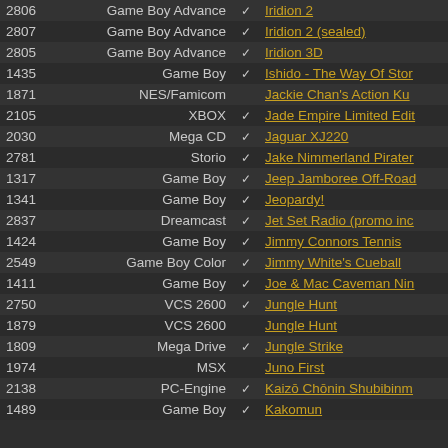| # | Platform | ✓ | Title |
| --- | --- | --- | --- |
| 2806 | Game Boy Advance | ✓ | Iridion 2 |
| 2807 | Game Boy Advance | ✓ | Iridion 2 (sealed) |
| 2805 | Game Boy Advance | ✓ | Iridion 3D |
| 1435 | Game Boy | ✓ | Ishido - The Way Of Ston… |
| 1871 | NES/Famicom |  | Jackie Chan's Action Ku… |
| 2105 | XBOX | ✓ | Jade Empire Limited Edit… |
| 2030 | Mega CD | ✓ | Jaguar XJ220 |
| 2781 | Storio | ✓ | Jake Nimmerland Pirate… |
| 1317 | Game Boy | ✓ | Jeep Jamboree Off-Road… |
| 1341 | Game Boy | ✓ | Jeopardy! |
| 2837 | Dreamcast | ✓ | Jet Set Radio (promo inc… |
| 1424 | Game Boy | ✓ | Jimmy Connors Tennis |
| 2549 | Game Boy Color | ✓ | Jimmy White's Cueball |
| 1411 | Game Boy | ✓ | Joe & Mac Caveman Nin… |
| 2750 | VCS 2600 | ✓ | Jungle Hunt |
| 1879 | VCS 2600 |  | Jungle Hunt |
| 1809 | Mega Drive | ✓ | Jungle Strike |
| 1974 | MSX |  | Juno First |
| 2138 | PC-Engine | ✓ | Kaizō Chōnin Shubibinm… |
| 1489 | Game Boy | ✓ | Kakomun |